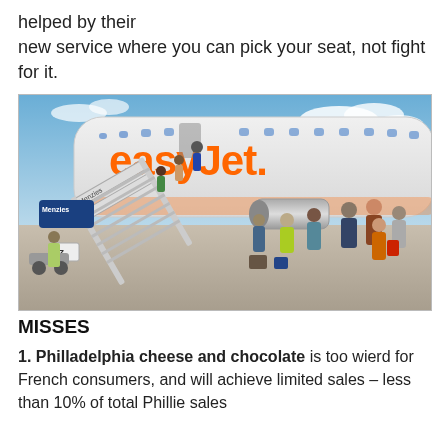helped by their new service where you can pick your seat, not fight for it.
[Figure (photo): Passengers boarding an easyJet aircraft via Menzies boarding stairs on an airport tarmac. The orange easyJet logo is visible on the white plane fuselage.]
MISSES
1. Philladelphia cheese and chocolate is too wierd for French consumers, and will achieve limited sales – less than 10% of total Phillie sales